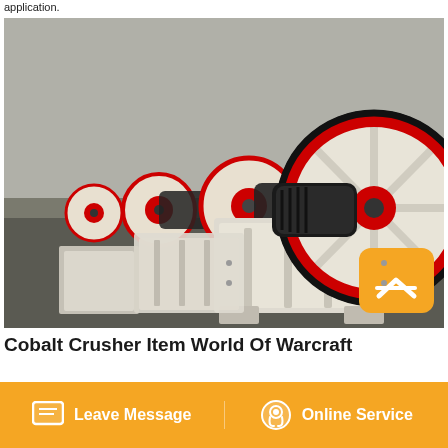application.
[Figure (photo): Row of industrial jaw crushers with red and white flywheel assemblies lined up in a factory/warehouse setting. Machines feature large spoked flywheels with red outer rings and black belts. An orange chat button is visible in the lower right of the image.]
Cobalt Crusher Item World Of Warcraft
Leave Message   Online Service